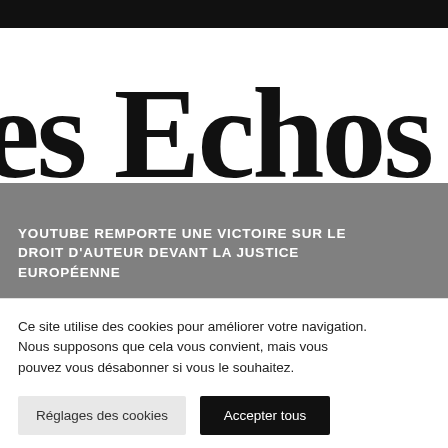[Figure (logo): Les Echos newspaper logo — large serif text 'es Echos' cropped, with a dark overlay banner containing a headline]
YOUTUBE REMPORTE UNE VICTOIRE SUR LE DROIT D'AUTEUR DEVANT LA JUSTICE EUROPÉENNE
Ce site utilise des cookies pour améliorer votre navigation. Nous supposons que cela vous convient, mais vous pouvez vous désabonner si vous le souhaitez.
Réglages des cookies
Accepter tous